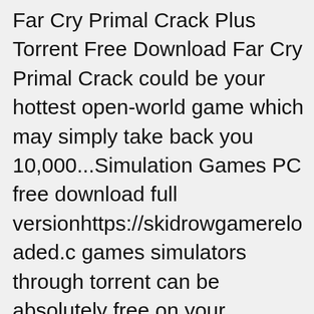Far Cry Primal Crack Plus Torrent Free Download Far Cry Primal Crack could be your hottest open-world game which may simply take back you 10,000...Simulation Games PC free download full versionhttps://skidrowgamereloaded.c games simulators through torrent can be absolutely free on your computer. Also other games can be downloaded from us.